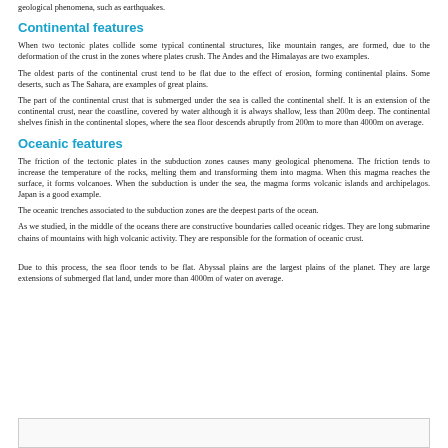geological phenomena, such as earthquakes.
Continental features
When two tectonic plates collide some typical continental structures, like mountain ranges, are formed, due to the deformation of the crust in the zones where plates crush. The Andes and the Himalayas are two examples.
The oldest parts of the continental crust tend to be flat due to the effect of erosion, forming continental plains. Some deserts, such as The Sahara, are examples of great plains.
The part of the continental crust that is submerged under the sea is called the continental shelf. It is an extension of the continental crust, near the coastline, covered by water although it is always shallow, less than 200m deep. The continental shelves finish in the continental slopes, where the sea floor descends abruptly from 200m to more than 4000m on average.
Oceanic features
The friction of the tectonic plates in the subduction zones causes many geological phenomena. The friction tends to increase the temperature of the rocks, melting them and transforming them into magma. When this magma reaches the surface, it forms volcanoes. When the subduction is under the sea, the magma forms volcanic islands and archipelagos. Japan is a good example.
The oceanic trenches associated to the subduction zones are the deepest parts of the ocean.
As we studied, in the middle of the oceans there are constructive boundaries called oceanic ridges. They are long submarine chains of mountains with high volcanic activity. They are responsible for the formation of oceanic crust.
Due to this process, the sea floor tends to be flat. Abyssal plains are the largest plains of the planet. They are large extensions of submerged flat land, under more than 4000m of water on average.
[Figure (other): Empty box/placeholder at the bottom of the page]